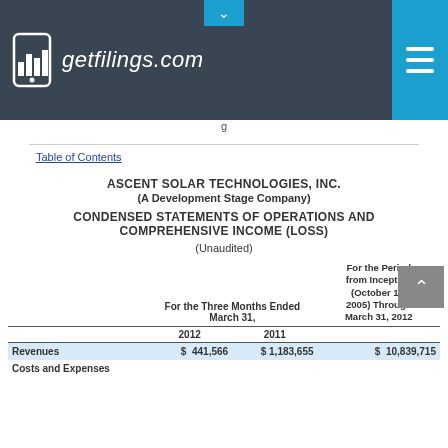getfilings.com
Table of Contents
ASCENT SOLAR TECHNOLOGIES, INC.
(A Development Stage Company)
CONDENSED STATEMENTS OF OPERATIONS AND COMPREHENSIVE INCOME (LOSS)
(Unaudited)
|  | For the Three Months Ended March 31, 2012 | For the Three Months Ended March 31, 2011 | For the Period from Inception (October 18, 2005) Through March 31, 2012 |
| --- | --- | --- | --- |
| Revenues | $ 441,566 | $ 1,183,655 | $ 10,839,715 |
| Costs and Expenses |  |  |  |